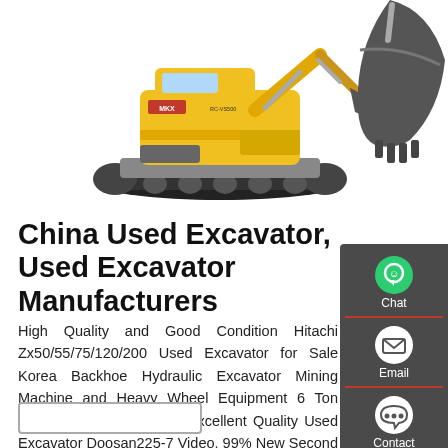[Figure (photo): Yellow crawler excavator (MKX brand) on white background, left side of image]
[Figure (photo): Excavator bucket/arm close-up on white background, right side of image]
China Used Excavator, Used Excavator Manufacturers
High Quality and Good Condition Hitachi Zx50/55/75/120/200 Used Excavator for Sale Korea Backhoe Hydraulic Excavator Mining Machine and Heavy Wheel Equipment 6 Ton Hyundai Used Excavator Excellent Quality Used Excavator Doosan225-7 Video. 99% New Second Hand China Construction Machinery Used Excavator 36 Tons Hydraulic Crawler Excavator Sy365h
[Figure (infographic): Side panel with Chat, Email, and Contact icons on dark grey background]